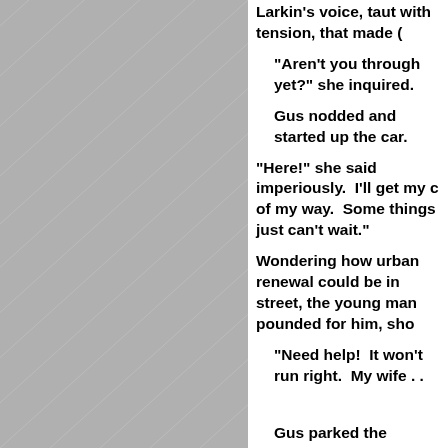Larkin's voice, taut with tension, that made (…)
"Aren't you through yet?" she inquired.
Gus nodded and started up the car.
"Here!" she said imperiously.  I'll get my c… of my way.  Some things just can't wait."
Wondering how urban renewal could be in… street, the young man pounded for him, sho…
"Need help!  It won't run right.  My wife . . .
Gus parked the wrecker and followed Ben… sluggishly, not at all eager to run.  The exha… Gus saw Mrs. Larkin's car back out briskly.
"Quits dead if I put it in gear," said Bennet… rotor.  Never would have if my wife had warr…
Once more Gus wrapped a cloth on his ha… it to the terminal.